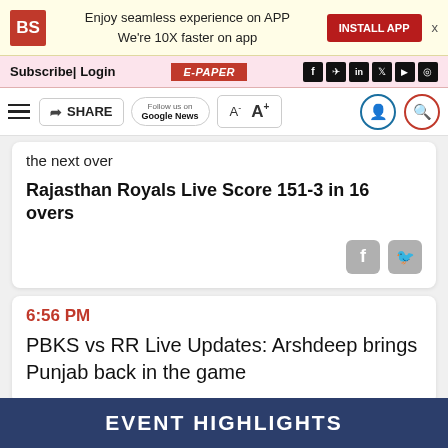BS | Enjoy seamless experience on APP We're 10X faster on app | INSTALL APP
Subscribe | Login | E-PAPER
≡ SHARE | Follow us on Google News | A- A+
the next over
Rajasthan Royals Live Score 151-3 in 16 overs
6:56 PM
PBKS vs RR Live Updates: Arshdeep brings Punjab back in the game
EVENT HIGHLIGHTS